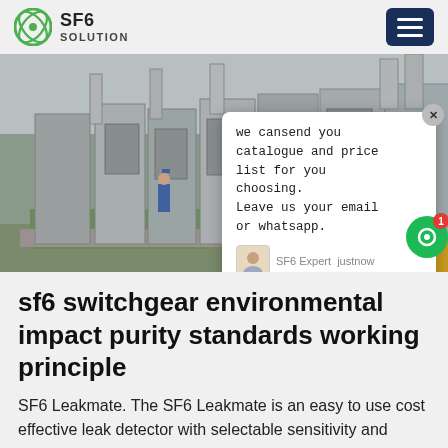SF6 SOLUTION
[Figure (photo): Outdoor SF6 switchgear installation with grey electrical cabinets and a worker in blue, surrounded by greenery and pipes. A chat popup overlay is visible with text: 'we cansend you catalogue and price list for you choosing. Leave us your email or whatsapp.' with SF6 Expert just now shown below.]
sf6 switchgear environmental impact purity standards working principle
SF6 Leakmate. The SF6 Leakmate is an easy to use cost effective leak detector with selectable sensitivity and automatic zero. List of Benefits